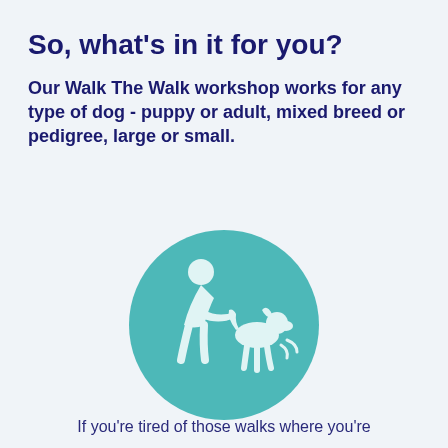So, what's in it for you?
Our Walk The Walk workshop works for any type of dog - puppy or adult, mixed breed or pedigree, large or small.
[Figure (illustration): A teal circular icon showing a stick-figure person bending down toward a small dog, interacting with it.]
If you're tired of those walks where you're